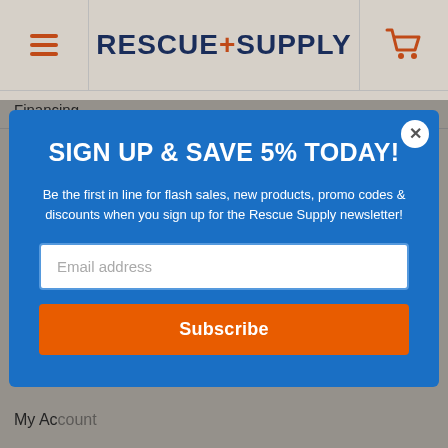[Figure (logo): Rescue+Supply logo with hamburger menu icon on left and shopping cart icon on right]
Financing
SIGN UP & SAVE 5% TODAY!
Be the first in line for flash sales, new products, promo codes & discounts when you sign up for the Rescue Supply newsletter!
Email address
Subscribe
Help Center
My Account